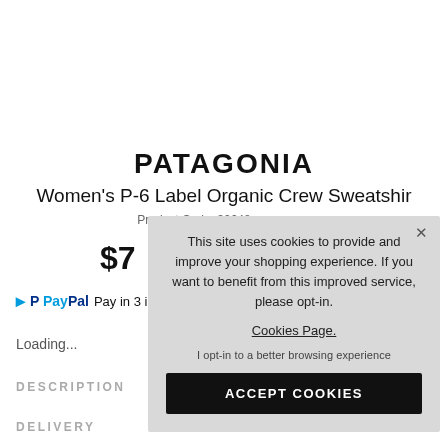PATAGONIA
Women's P-6 Label Organic Crew Sweatshir
Product Code: 39648
$7
PayPal Pay in 3 in
Loading...
DESCRIPTION
DELIVERY
This site uses cookies to provide and improve your shopping experience. If you want to benefit from this improved service, please opt-in.
Cookies Page.
I opt-in to a better browsing experience
ACCEPT COOKIES